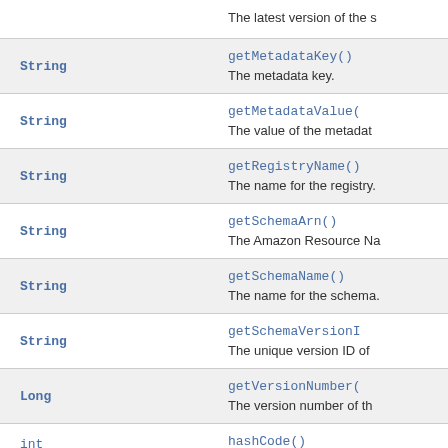| Type | Method/Description |
| --- | --- |
|  | The latest version of the s... |
| String | getMetadataKey()
The metadata key. |
| String | getMetadataValue(
The value of the metadat... |
| String | getRegistryName()
The name for the registry. |
| String | getSchemaArn()
The Amazon Resource Na... |
| String | getSchemaName()
The name for the schema. |
| String | getSchemaVersionI...
The unique version ID of ... |
| Long | getVersionNumber(
The version number of th... |
| int | hashCode() |
| Boolean | isLatestVersion... |